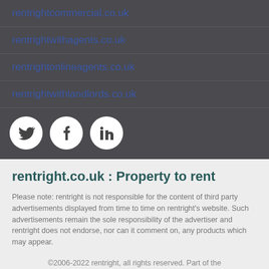rentrightcommercial.co.uk
rentrightwithagents.co.uk
rentrightonlineagents.co.uk
rentrightwithlandlords.co.uk
[Figure (illustration): Social media icons: Twitter, Facebook, LinkedIn in white circles on dark background]
rentright.co.uk : Property to rent
Please note: rentright is not responsible for the content of third party advertisements displayed from time to time on rentright's website. Such advertisements remain the sole responsibility of the advertiser and rentright does not endorse, nor can it comment on, any products which may appear.
©2006-2022 rentright, all rights reserved. Part of the rentright.co.uk group of websites
Terms and Conditions | Privacy Policy | Cookie Policy